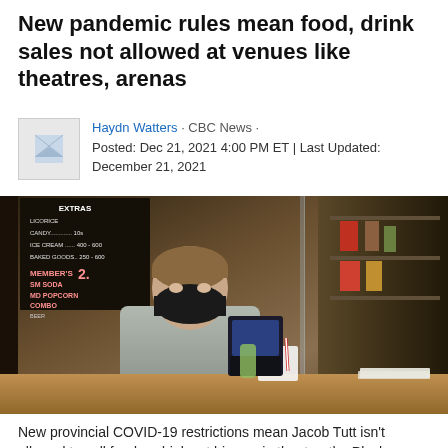New pandemic rules mean food, drink sales not allowed at venues like theatres, arenas
Haydn Watters · CBC News · Posted: Dec 21, 2021 4:00 PM ET | Last Updated: December 21, 2021
[Figure (photo): Person wearing a black face mask standing behind a wooden counter at a movie theatre concession stand, with a chalkboard menu in the background listing items like licorice, candy, ice cream, and baked goods.]
New provincial COVID-19 restrictions mean Jacob Tutt isn't allowed to sell food or drinks at his movie theatre, the Playhouse Cinema,